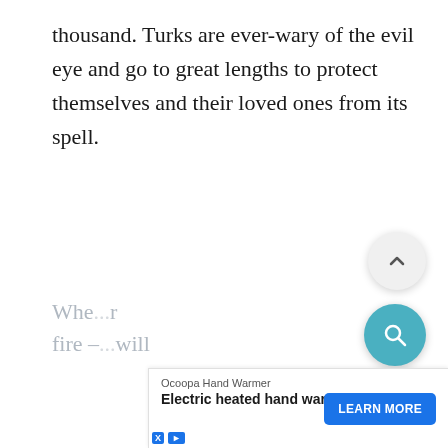thousand. Turks are ever-wary of the evil eye and go to great lengths to protect themselves and their loved ones from its spell.
[Figure (screenshot): Scroll-to-top circular button (light gray) with an upward chevron arrow icon]
[Figure (screenshot): Search circular button (teal/blue) with a magnifying glass icon]
Whe... r fire –... will
[Figure (screenshot): Advertisement banner for Ocoopa Hand Warmer - Electric heated hand warmers with a blue LEARN MORE button and close/skip controls]